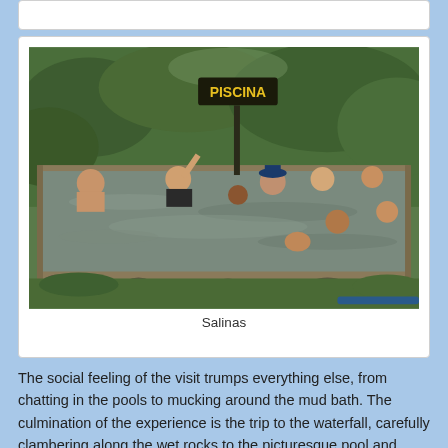[Figure (photo): People swimming in a natural outdoor pool (piscina) surrounded by green grass and rocks. A sign reading 'PISCINA' is visible in the background. Multiple people of various ages are in the murky water, with green hillside vegetation behind.]
Salinas
The social feeling of the visit trumps everything else, from chatting in the pools to mucking around the mud bath. The culmination of the experience is the trip to the waterfall, carefully clambering along the wet rocks to the picturesque pool and cascada, already upon my arrival full of half-naked